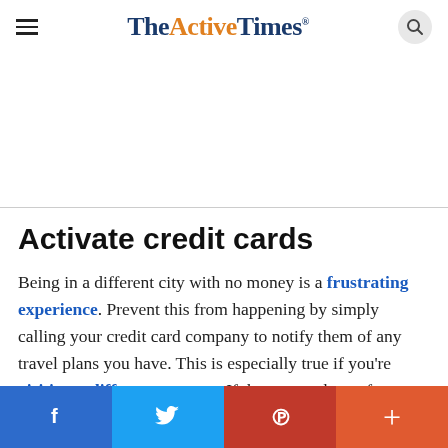TheActiveTimes
[Figure (other): Advertisement placeholder area (white/blank)]
Activate credit cards
Being in a different city with no money is a frustrating experience. Prevent this from happening by simply calling your credit card company to notify them of any travel plans you have. This is especially true if you're visiting a different country. If they see a charge from a
Facebook  Twitter  Pinterest  More